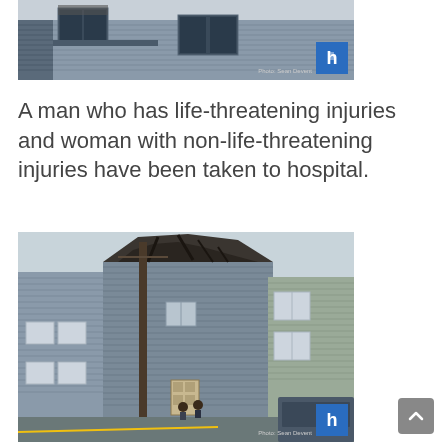[Figure (photo): Exterior of a multi-story residential building with gray siding, showing fire or smoke damage at the upper windows. A watermark logo 'h' in blue square appears bottom right with photo credit text.]
A man who has life-threatening injuries and woman with non-life-threatening injuries have been taken to hospital.
[Figure (photo): Exterior of a fire-damaged multi-story residential building with charred roof and debris visible. Emergency responders and vehicles visible at street level. Gray siding on adjacent buildings. A watermark logo 'h' in blue square appears bottom right with photo credit text.]